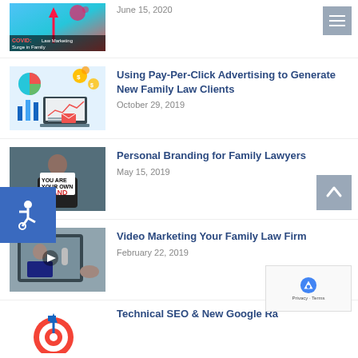[Figure (screenshot): COVID Surge in Family Law Marketing thumbnail image]
June 15, 2020
[Figure (photo): Pay-Per-Click advertising thumbnail with laptop showing charts and dollar signs]
Using Pay-Per-Click Advertising to Generate New Family Law Clients
October 29, 2019
[Figure (photo): Person holding sign saying YOU ARE YOUR OWN BRAND]
Personal Branding for Family Lawyers
May 15, 2019
[Figure (photo): Video marketing thumbnail showing man being recorded on tablet]
Video Marketing Your Family Law Firm
February 22, 2019
[Figure (photo): Target with arrow - Technical SEO thumbnail]
Technical SEO & New Google Ra...